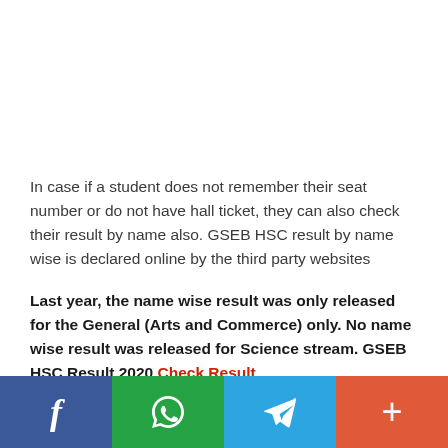In case if a student does not remember their seat number or do not have hall ticket, they can also check their result by name also. GSEB HSC result by name wise is declared online by the third party websites
Last year, the name wise result was only released for the General (Arts and Commerce) only. No name wise result was released for Science stream. GSEB HSC Result 2020 Check Result
GSEB HSC Supplementary Exam 2020
[Figure (infographic): Social media share bar with four buttons: Facebook (blue), WhatsApp (green), Telegram (blue), and a plus/more button (orange-red)]